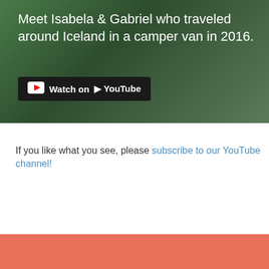[Figure (screenshot): YouTube video thumbnail showing text 'Meet Isabela & Gabriel who traveled around Iceland in a camper van in 2016.' with a YouTube Watch button overlay on a green outdoor background.]
If you like what you see, please subscribe to our YouTube channel!
This site uses cookies. By continuing to browse the site you are agreeing to our use of cookies. Review our cookie information for more details
Got it!